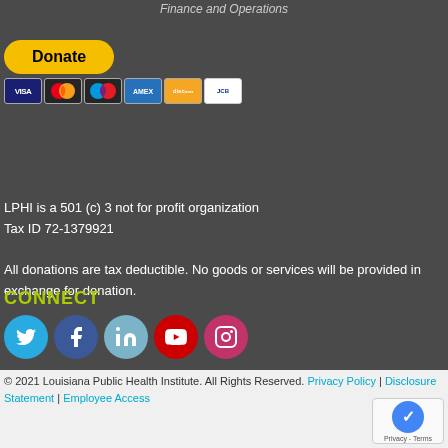Finance and Operations
[Figure (screenshot): PayPal Donate button (yellow pill-shaped button with 'Donate' text) above a row of credit card icons: Visa, Mastercard, Maestro, American Express, Discover, JCB]
LPHI is a 501 (c) 3 not for profit organization
Tax ID 72-1379921
All donations are tax deductible. No goods or services will be provided in exchange for donation.
CONNECT
[Figure (infographic): Row of social media icons: Twitter (cyan), Facebook (blue), LinkedIn (light blue), YouTube (red), Instagram (pink/magenta)]
© 2021 Louisiana Public Health Institute. All Rights Reserved. Privacy Policy | Disclosure Statement | Employee Access